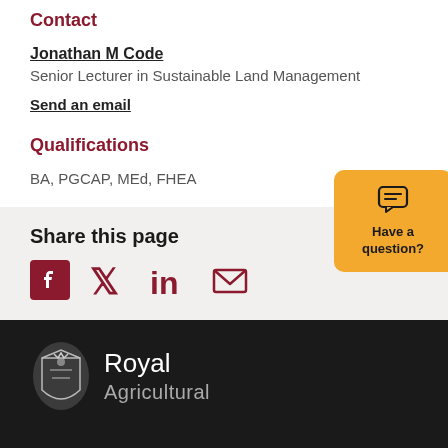Contact
Jonathan M Code
Senior Lecturer in Sustainable Land Management
Send an email
Qualifications
BA, PGCAP, MEd, FHEA
Share this page
[Figure (infographic): Social media sharing icons: Facebook, Twitter, LinkedIn, Email]
[Figure (logo): Royal Agricultural University crest and wordmark in white on dark background]